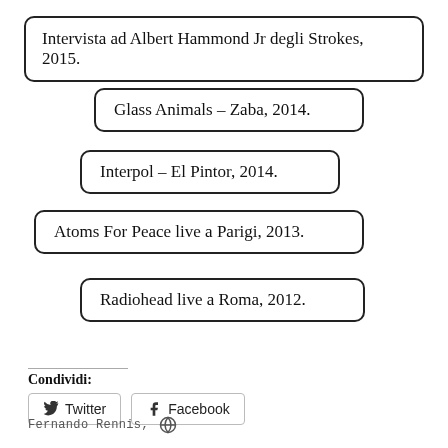Intervista ad Albert Hammond Jr degli Strokes, 2015.
Glass Animals – Zaba, 2014.
Interpol – El Pintor, 2014.
Atoms For Peace live a Parigi, 2013.
Radiohead live a Roma, 2012.
Condividi:
Twitter  Facebook
Fernando Rennis, WordPress